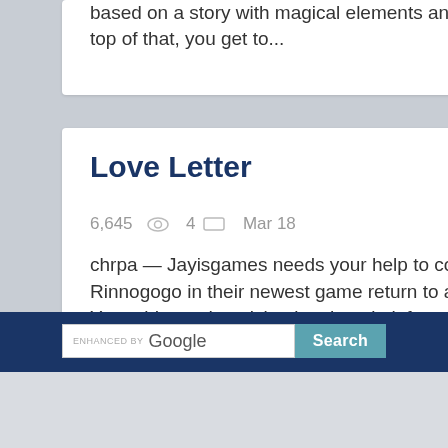based on a story with magical elements and on top of that, you get to...
Love Letter
6,645  4  Mar 18
chrpa — Jayisgames needs your help to continue providing quality content. Click for details Rinnogogo in their newest game return to a melancholic, bitter-sweet story they are so good at. Your old grandma, lying in a hospital, forgot something very important at...
[Figure (screenshot): Google search bar with 'ENHANCED BY Google' label and a 'Search' button]